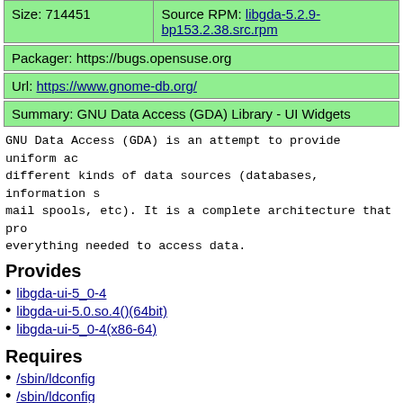| Size: 714451 | Source RPM: libgda-5.2.9-bp153.2.38.src.rpm |
| Packager: https://bugs.opensuse.org |  |
| Url: https://www.gnome-db.org/ |  |
| Summary: GNU Data Access (GDA) Library - UI Widgets |  |
GNU Data Access (GDA) is an attempt to provide uniform ac different kinds of data sources (databases, information s mail spools, etc). It is a complete architecture that pr everything needed to access data.
Provides
libgda-ui-5_0-4
libgda-ui-5.0.so.4()(64bit)
libgda-ui-5_0-4(x86-64)
Requires
/sbin/ldconfig
/sbin/ldconfig